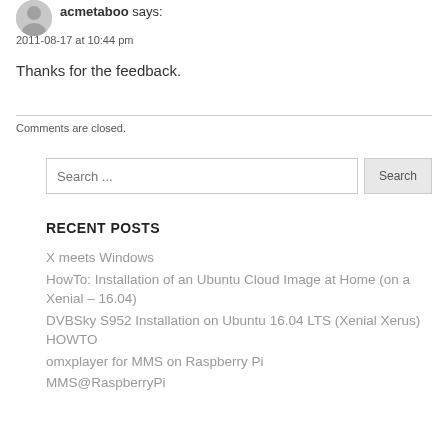acmetaboo says:
2011-08-17 at 10:44 pm
Thanks for the feedback.
Comments are closed.
Search ...
RECENT POSTS
X meets Windows
HowTo: Installation of an Ubuntu Cloud Image at Home (on a Xenial – 16.04)
DVBSky S952 Installation on Ubuntu 16.04 LTS (Xenial Xerus) HOWTO
omxplayer for MMS on Raspberry Pi
MMS@RaspberryPi